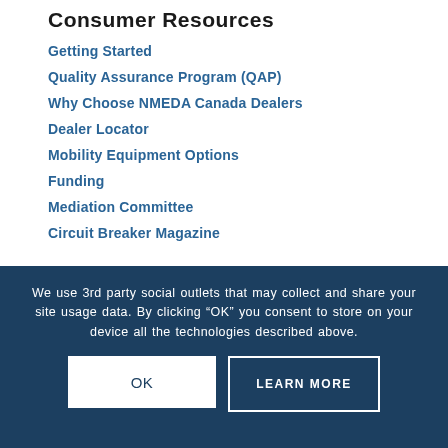Consumer Resources
Getting Started
Quality Assurance Program (QAP)
Why Choose NMEDA Canada Dealers
Dealer Locator
Mobility Equipment Options
Funding
Mediation Committee
Circuit Breaker Magazine
We use 3rd party social outlets that may collect and share your site usage data. By clicking “OK” you consent to store on your device all the technologies described above.
OK
LEARN MORE